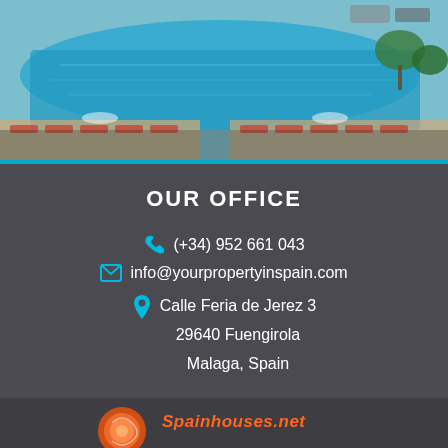[Figure (photo): Aerial view of a resort swimming pool area with sun loungers and tropical landscaping]
OUR OFFICE
(+34) 952 661 043
info@yourpropertyinspain.com
Calle Feria de Jerez 3
29640 Fuengirola
Malaga, Spain
[Figure (logo): Spainhouses.net logo with orange circular emblem]
We use cookies to ensure you get the best experience on our website
ACCEPT COOKIES
MORE INFO